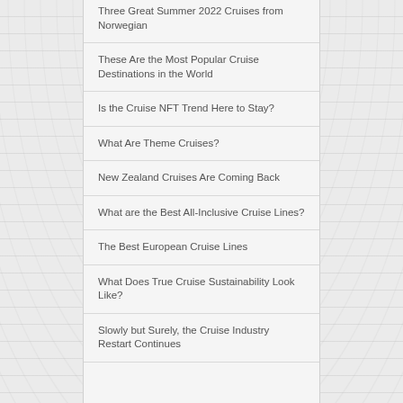Three Great Summer 2022 Cruises from Norwegian
These Are the Most Popular Cruise Destinations in the World
Is the Cruise NFT Trend Here to Stay?
What Are Theme Cruises?
New Zealand Cruises Are Coming Back
What are the Best All-Inclusive Cruise Lines?
The Best European Cruise Lines
What Does True Cruise Sustainability Look Like?
Slowly but Surely, the Cruise Industry Restart Continues